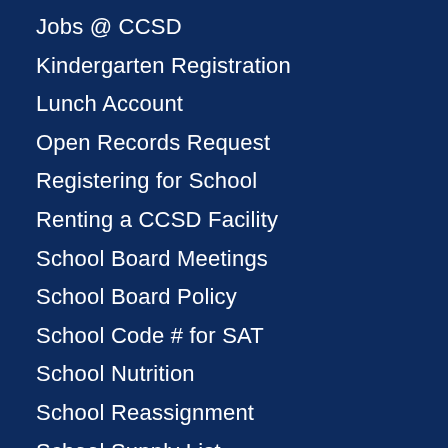Jobs @ CCSD
Kindergarten Registration
Lunch Account
Open Records Request
Registering for School
Renting a CCSD Facility
School Board Meetings
School Board Policy
School Code # for SAT
School Nutrition
School Reassignment
School Supply List
School Zones
Special Ed Evaluation
Standards & Curriculum
STEM Academies
Student Recognition
Student Test S...